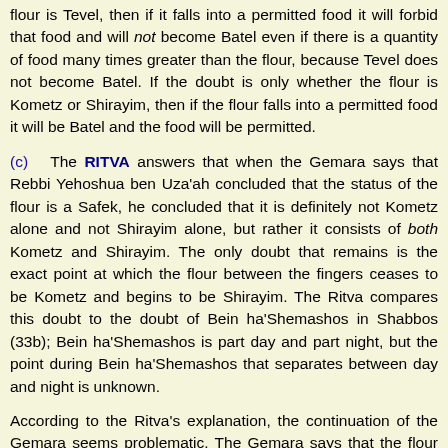flour is Tevel, then if it falls into a permitted food it will forbid that food and will not become Batel even if there is a quantity of food many times greater than the flour, because Tevel does not become Batel. If the doubt is only whether the flour is Kometz or Shirayim, then if the flour falls into a permitted food it will be Batel and the food will be permitted.
(c) The RITVA answers that when the Gemara says that Rebbi Yehoshua ben Uza'ah concluded that the status of the flour is a Safek, he concluded that it is definitely not Kometz alone and not Shirayim alone, but rather it consists of both Kometz and Shirayim. The only doubt that remains is the exact point at which the flour between the fingers ceases to be Kometz and begins to be Shirayim. The Ritva compares this doubt to the doubt of Bein ha'Shemashos in Shabbos (33b); Bein ha'Shemashos is part day and part night, but the point during Bein ha'Shemashos that separates between day and night is unknown.
According to the Ritva's explanation, the continuation of the Gemara seems problematic. The Gemara says that the flour left between the Kohen's fingers may not be burned before the